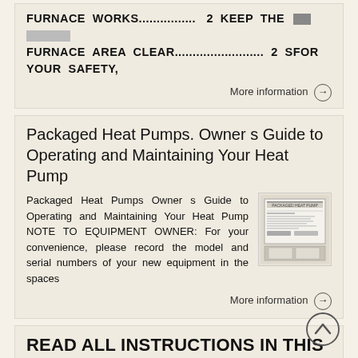FURNACE WORKS................ 2 KEEP THE FURNACE AREA CLEAR....................... 2 SFOR YOUR SAFETY,
More information →
Packaged Heat Pumps. Owner s Guide to Operating and Maintaining Your Heat Pump
Packaged Heat Pumps Owner s Guide to Operating and Maintaining Your Heat Pump NOTE TO EQUIPMENT OWNER: For your convenience, please record the model and serial numbers of your new equipment in the spaces
[Figure (illustration): Thumbnail image of a packaged heat pump unit document cover]
More information →
READ ALL INSTRUCTIONS IN THIS MANUAL AND RETAIN FOR FUTURE REFERENCE WARNING